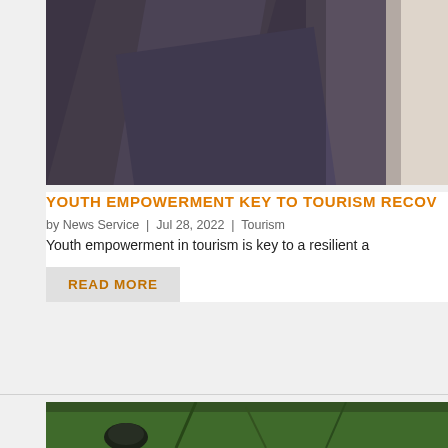[Figure (photo): Close-up photo of dark grey/purple fabric or textile folded, partially cropped. White fabric visible on right edge.]
YOUTH EMPOWERMENT KEY TO TOURISM RECOV
by News Service | Jul 28, 2022 | Tourism
Youth empowerment in tourism is key to a resilient a
READ MORE
[Figure (photo): Outdoor nature photo showing green plants/foliage with dark mechanical or stone object, partially cropped at bottom of page.]